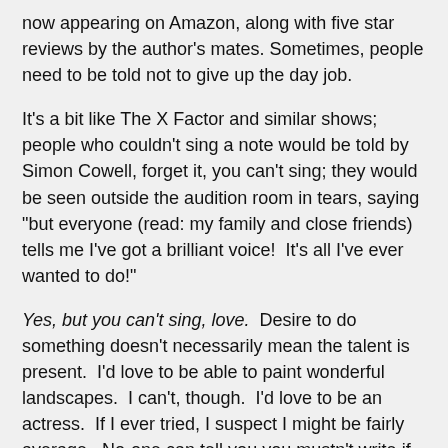now appearing on Amazon, along with five star reviews by the author's mates. Sometimes, people need to be told not to give up the day job.
It's a bit like The X Factor and similar shows; people who couldn't sing a note would be told by Simon Cowell, forget it, you can't sing; they would be seen outside the audition room in tears, saying "but everyone (read: my family and close friends) tells me I've got a brilliant voice!  It's all I've ever wanted to do!"
Yes, but you can't sing, love.  Desire to do something doesn't necessarily mean the talent is present.  I'd love to be able to paint wonderful landscapes.  I can't, though.  I'd love to be an actress.  If I ever tried, I suspect I might be fairly average.  No-one can tell you you mustn't write if you enjoy it, or that you mustn't publish your work, but once you put it 'out there' it WILL get commented on.
People are entitled to their point of view.  It is not the responsibility of the reader (who doesn't know you from Adam) to give you helpful suggestions that might help you